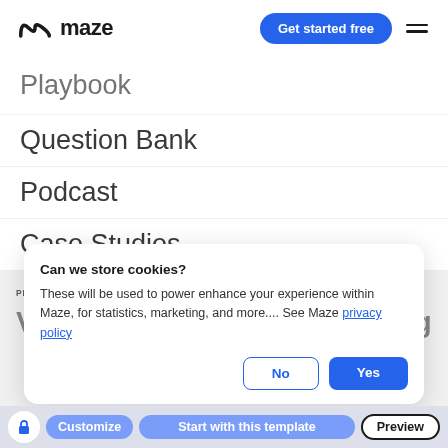maze — Get started free
Playbook
Question Bank
Podcast
Case Studies
Can we store cookies?

These will be used to power enhance your experience within Maze, for statistics, marketing, and more.... See Maze privacy policy
No | Yes
PRO
Validate marketing messaging
Customize | Start with this template | Preview